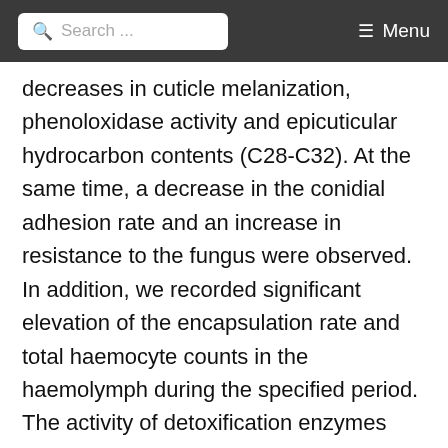Search ... Menu
decreases in cuticle melanization, phenoloxidase activity and epicuticular hydrocarbon contents (C28-C32). At the same time, a decrease in the conidial adhesion rate and an increase in resistance to the fungus were observed. In addition, we recorded significant elevation of the encapsulation rate and total haemocyte counts in the haemolymph during the specified period. The activity of detoxification enzymes decreased in the haemolymph but increased in the fat body during larval growth. No significant differences in the fatty acid content in the epicuticle were observed. The role of developmental disorders in susceptibility to entomopathogenic fungi is also discussed.